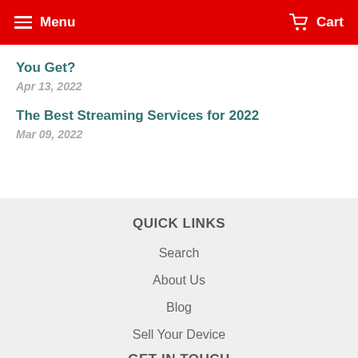Menu   Cart
You Get?
Apr 13, 2022
The Best Streaming Services for 2022
Mar 09, 2022
QUICK LINKS
Search
About Us
Blog
Sell Your Device
GET IN TOUCH